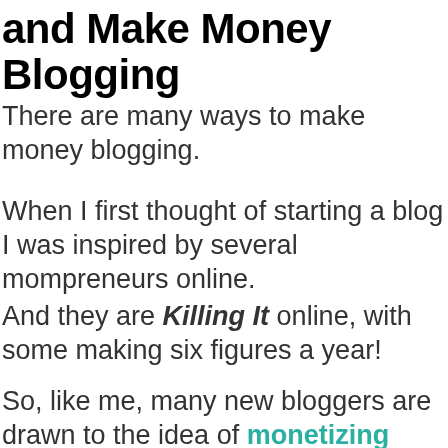and Make Money Blogging
There are many ways to make money blogging.
When I first thought of starting a blog I was inspired by several mompreneurs online.
And they are Killing It online, with some making six figures a year!
So, like me, many new bloggers are drawn to the idea of monetizing their blog.